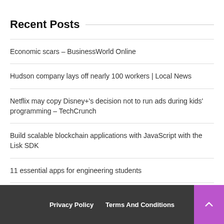Recent Posts
Economic scars – BusinessWorld Online
Hudson company lays off nearly 100 workers | Local News
Netflix may copy Disney+'s decision not to run ads during kids' programming – TechCrunch
Build scalable blockchain applications with JavaScript with the Lisk SDK
11 essential apps for engineering students
After 12:50 p.m. abruptly ends local programming, former radio hosts react
Privacy Policy   Terms And Conditions